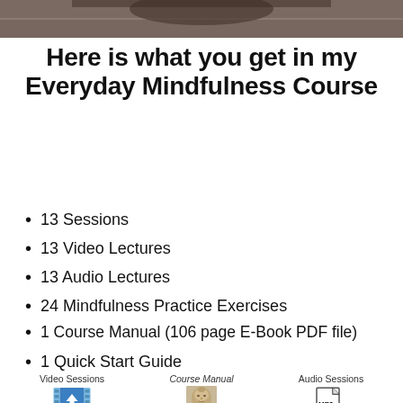[Figure (photo): Cropped photo at top of page, partially visible]
Here is what you get in my Everyday Mindfulness Course
13 Sessions
13 Video Lectures
13 Audio Lectures
24 Mindfulness Practice Exercises
1 Course Manual (106 page E-Book PDF file)
1 Quick Start Guide
[Figure (illustration): Three icons in a row: Video Sessions (blue film download icon), Course Manual (book with Buddha face), Audio Sessions (MP3 file icon)]